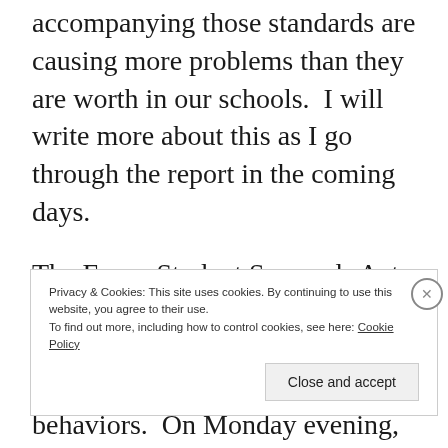accompanying those standards are causing more problems than they are worth in our schools.  I will write more about this as I go through the report in the coming days.
The Every Student Succeeds Act addresses school discipline and how our schools carry out punishment for negative behaviors.  On Monday evening,
Privacy & Cookies: This site uses cookies. By continuing to use this website, you agree to their use.
To find out more, including how to control cookies, see here: Cookie Policy